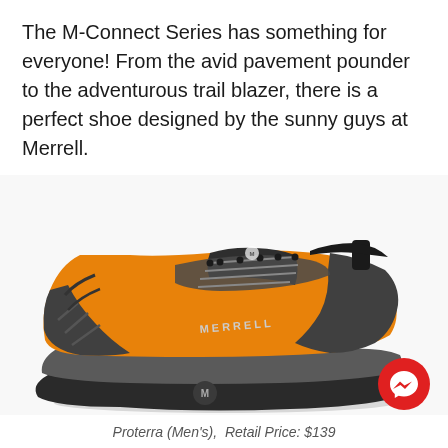The M-Connect Series has something for everyone! From the avid pavement pounder to the adventurous trail blazer, there is a perfect shoe designed by the sunny guys at Merrell.
[Figure (photo): Orange and dark grey Merrell Proterra men's trail running shoe shown from the side, with MERRELL branding on the side panel, lace-up design, and thick rubber sole.]
Proterra (Men's),  Retail Price: $139